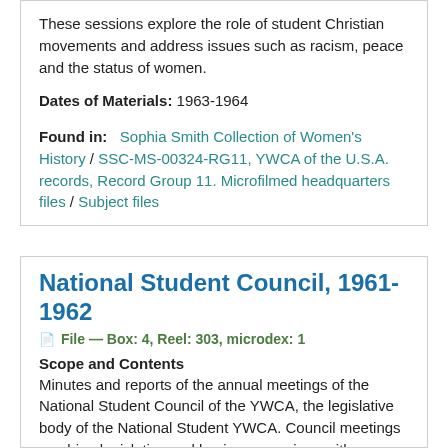These sessions explore the role of student Christian movements and address issues such as racism, peace and the status of women.
Dates of Materials: 1963-1964
Found in:   Sophia Smith Collection of Women's History / SSC-MS-00324-RG11, YWCA of the U.S.A. records, Record Group 11. Microfilmed headquarters files / Subject files
National Student Council, 1961-1962
File — Box: 4, Reel: 303, microdex: 1
Scope and Contents
Minutes and reports of the annual meetings of the National Student Council of the YWCA, the legislative body of the National Student YWCA. Council meetings combine legislative and business sessions with speeches, workshops and discussions concerning program emphases and the social, economic and spiritual issues students face. These sessions explore the role of student Christian movements and address issues and concerns...